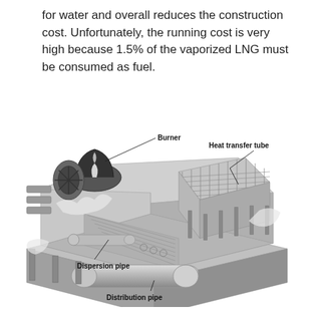for water and overall reduces the construction cost. Unfortunately, the running cost is very high because 1.5% of the vaporized LNG must be consumed as fuel.
[Figure (engineering-diagram): Cutaway isometric diagram of an LNG vaporizer unit showing labeled components: Burner (top left, with flame), Heat transfer tube (right section, grid of tubes), Dispersion pipe (bottom left area), and Distribution pipe (large cylindrical pipe at bottom center-right).]